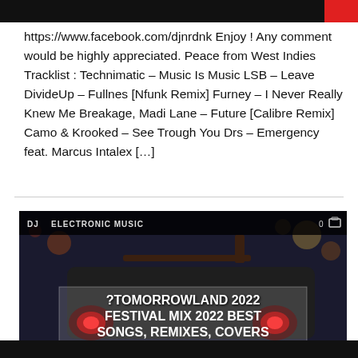https://www.facebook.com/djnrdnk Enjoy ! Any comment would be highly appreciated. Peace from West Indies Tracklist : Technimatic – Music Is Music LSB – Leave DivideUp – Fullnes [Nfunk Remix] Furney – I Never Really Knew Me Breakage, Madi Lane – Future [Calibre Remix] Camo & Krooked – See Trough You Drs – Emergency feat. Marcus Intalex […]
[Figure (screenshot): Screenshot of a music website showing a thumbnail for '?TOMORROWLAND 2022 FESTIVAL MIX 2022 BEST SONGS, REMIXES, COVERS' with a dark car image background and tags for DJ and ELECTRONIC MUSIC at the top.]